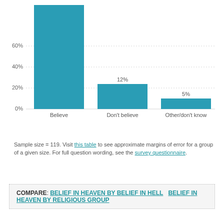[Figure (bar-chart): ]
Sample size = 119. Visit this table to see approximate margins of error for a group of a given size. For full question wording, see the survey questionnaire.
COMPARE: BELIEF IN HEAVEN BY BELIEF IN HELL  BELIEF IN HEAVEN BY RELIGIOUS GROUP